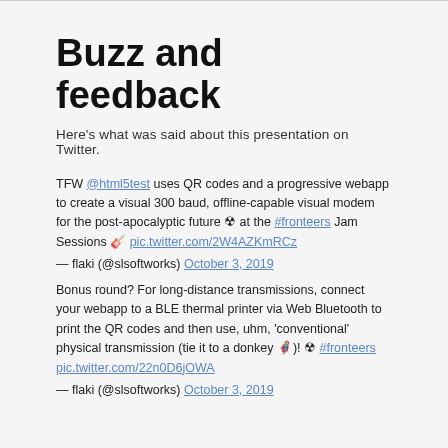Buzz and feedback
Here's what was said about this presentation on Twitter.
TFW @html5test uses QR codes and a progressive webapp to create a visual 300 baud, offline-capable visual modem for the post-apocalyptic future ☢ at the #fronteers Jam Sessions 🎸 pic.twitter.com/2W4AZKmRCz
— flaki (@slsoftworks) October 3, 2019
Bonus round? For long-distance transmissions, connect your webapp to a BLE thermal printer via Web Bluetooth to print the QR codes and then use, uhm, 'conventional' physical transmission (tie it to a donkey 🫏)! ☢ #fronteers pic.twitter.com/22n0D6jOWA
— flaki (@slsoftworks) October 3, 2019